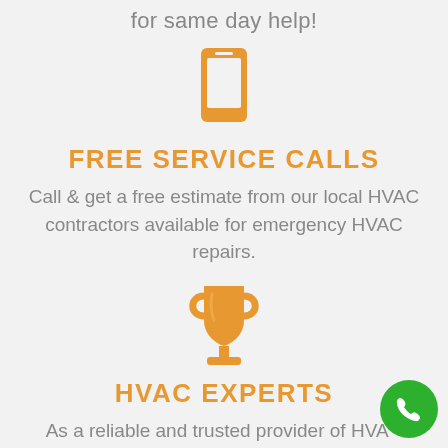for same day help!
[Figure (illustration): Orange smartphone icon]
FREE SERVICE CALLS
Call & get a free estimate from our local HVAC contractors available for emergency HVAC repairs.
[Figure (illustration): Orange trophy icon]
HVAC EXPERTS
As a reliable and trusted provider of HVAC
[Figure (illustration): Green circular phone call button in the bottom right corner]